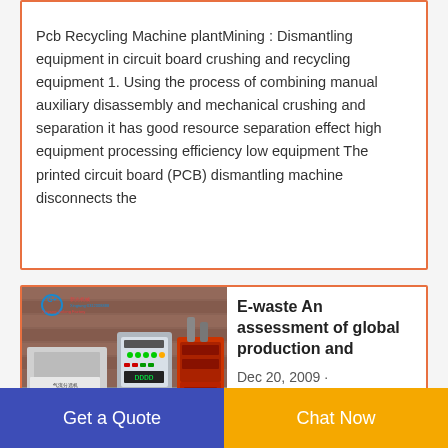Pcb Recycling Machine plantMining : Dismantling equipment in circuit board crushing and recycling equipment 1. Using the process of combining manual auxiliary disassembly and mechanical crushing and separation it has good resource separation effect high equipment processing efficiency low equipment The printed circuit board (PCB) dismantling machine disconnects the
[Figure (photo): Industrial e-waste recycling machine with air separator, control panel with green indicator lights, and red shredder unit in a warehouse setting. Chinese text overlay reads branding information.]
E-waste An assessment of global production and
Dec 20, 2009 ·
Get a Quote
Chat Now